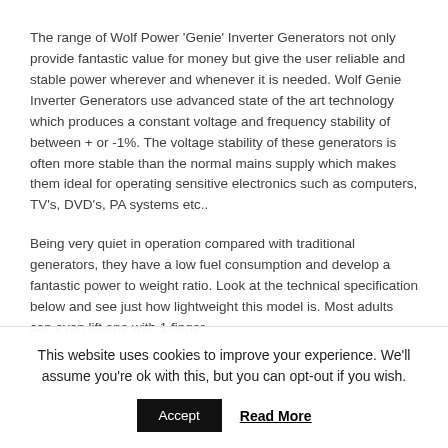The range of Wolf Power 'Genie' Inverter Generators not only provide fantastic value for money but give the user reliable and stable power wherever and whenever it is needed. Wolf Genie Inverter Generators use advanced state of the art technology which produces a constant voltage and frequency stability of between + or -1%. The voltage stability of these generators is often more stable than the normal mains supply which makes them ideal for operating sensitive electronics such as computers, TV's, DVD's, PA systems etc..
Being very quiet in operation compared with traditional generators, they have a low fuel consumption and develop a fantastic power to weight ratio. Look at the technical specification below and see just how lightweight this model is. Most adults can even lift one with 1 finger.
This website uses cookies to improve your experience. We'll assume you're ok with this, but you can opt-out if you wish.